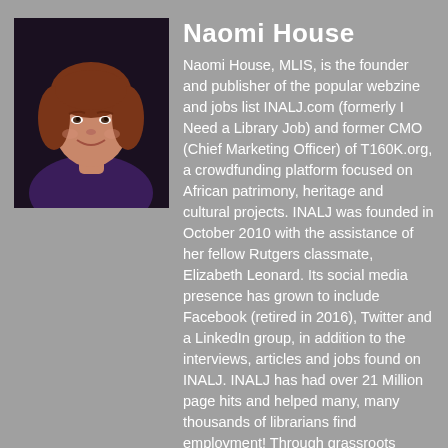[Figure (photo): Headshot photo of Naomi House, a woman with reddish-brown hair wearing a dark purple top, against a dark background]
Naomi House
Naomi House, MLIS, is the founder and publisher of the popular webzine and jobs list INALJ.com (formerly I Need a Library Job) and former CMO (Chief Marketing Officer) of T160K.org, a crowdfunding platform focused on African patrimony, heritage and cultural projects. INALJ was founded in October 2010 with the assistance of her fellow Rutgers classmate, Elizabeth Leonard. Its social media presence has grown to include Facebook (retired in 2016), Twitter and a LinkedIn group, in addition to the interviews, articles and jobs found on INALJ. INALJ has had over 21 Million page hits and helped many, many thousands of librarians find employment! Through grassroots marketing, word of mouth and a real focus on exploring unconventional resources for job leads, INALJ grew from a subscription base of 20 friends to a website with over 500,000 visits